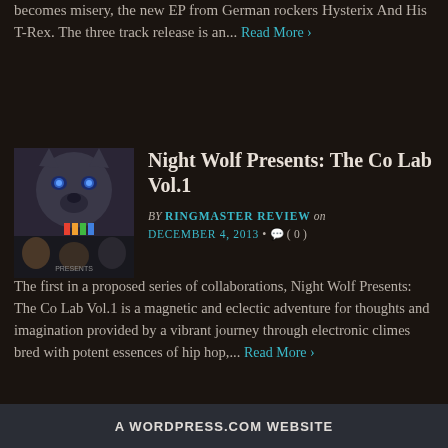becomes misery, the new EP from German rockers Hysterix And His T-Rex. The three track release is an... Read More ›
Night Wolf Presents: The Co Lab Vol.1
[Figure (photo): Album cover for Night Wolf Presents: The Co Lab Vol.1 showing a wolf with blue eyes and collage of artists]
BY RINGMASTER REVIEW on DECEMBER 4, 2013 • 🗨 ( 0 )
The first in a proposed series of collaborations, Night Wolf Presents: The Co Lab Vol.1 is a magnetic and eclectic adventure for thoughts and imagination provided by a vibrant journey through electronic climes bred with potent essences of hip hop,... Read More ›
A WORDPRESS.COM WEBSITE